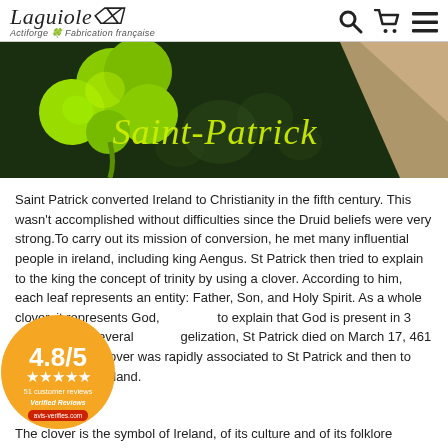Laguiole — Actiforge Fabrication française
[Figure (photo): Saint-Patrick themed banner image with green shamrock/clover on dark background with yellow-green cursive text reading 'Saint-Patrick']
Saint Patrick converted Ireland to Christianity in the fifth century. This wasn't accomplished without difficulties since the Druid beliefs were very strong.To carry out its mission of conversion, he met many influential people in ireland, including king Aengus. St Patrick then tried to explain to the king the concept of trinity by using a clover. According to him, each leaf represents an entity: Father, Son, and Holy Spirit. As a whole clover, it represents God, to explain that God is present in 3 people. After several gelization, St Patrick died on March 17, 461 AD. from lover was rapidly associated to St Patrick and then to untry of Ireland.
The clover is the symbol of Ireland, of its culture and of its folklore
[Figure (infographic): Orange circular rating badge showing '4.8/5' with 5 gold stars, '51 customer reviews', 'Verified Reviews' text and a red button]